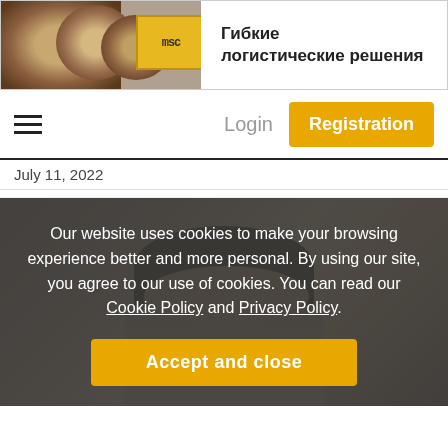[Figure (infographic): Banner advertisement with wood logs and yellow shipping container, text in Russian: Гибкие логистические решения]
[Figure (screenshot): Navigation bar with hamburger menu, Login button (grey), and Registration button (amber/gold)]
July 11, 2022
[Figure (photo): Portrait photo of a man, partially visible, with blurred warm background]
Our website uses cookies to make your browsing experience better and more personal. By using our site, you agree to our use of cookies. You can read our Cookie Policy and Privacy Policy.
Accept and close